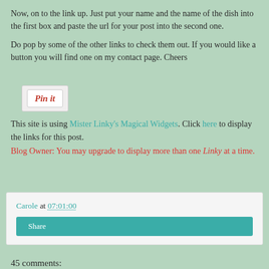Now, on to the link up.  Just put your name and the name of the dish into the first box and paste the url for your post into the second one.
Do pop by some of the other links to check them out.  If you would like a button you will find one on my contact page.  Cheers
[Figure (other): Pin It button image]
This site is using Mister Linky's Magical Widgets.  Click here to display the links for this post.
Blog Owner: You may upgrade to display more than one Linky at a time.
Carole at 07:01:00
Share
45 comments: